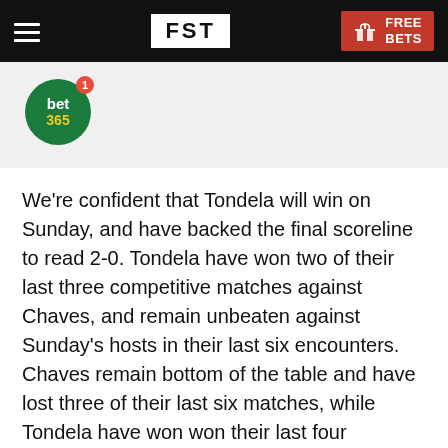FST | FREE BETS
[Figure (logo): bet365 circular green logo with yellow text '365' and red notification badge showing '1']
We're confident that Tondela will win on Sunday, and have backed the final scoreline to read 2-0. Tondela have won two of their last three competitive matches against Chaves, and remain unbeaten against Sunday's hosts in their last six encounters. Chaves remain bottom of the table and have lost three of their last six matches, while Tondela have won won their last four matches. Chaves have failed to score in four of their last six matches, and we're expecting the home side to struggle against a rejuvenated Tondela this weekend.